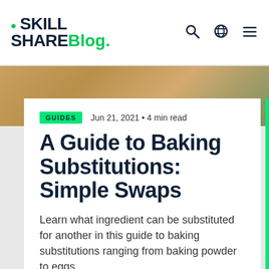SKILL SHARe Blog.
[Figure (photo): Hero background image showing baked goods with warm golden-brown tones]
GUIDES  Jun 21, 2021 • 4 min read
A Guide to Baking Substitutions: Simple Swaps
Learn what ingredient can be substituted for another in this guide to baking substitutions ranging from baking powder to eggs.